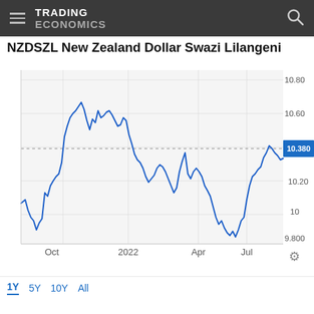TRADING ECONOMICS
NZDSZL New Zealand Dollar Swazi Lilangeni
[Figure (continuous-plot): Line chart of NZDSZL (NZD/SZL exchange rate) over approximately 1 year from Sep 2021 to Aug 2022. Y-axis ranges from ~9.800 to ~10.80. A horizontal dotted reference line and blue label show the current value of 10.380. Time axis shows Oct, 2022, Apr, Jul labels. The rate peaked around 10.80 in late 2021/early 2022, then fell to lows near 9.80 mid-2022, recovered to ~10.65 in July 2022, ending around 10.380.]
1Y  5Y  10Y  All